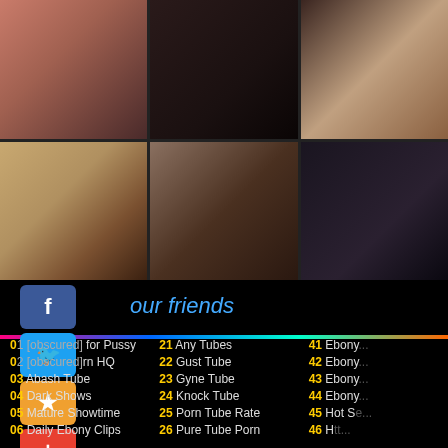[Figure (photo): Grid of 6 adult content video thumbnails arranged in 2 rows of 3 columns]
our friends
01 [obscured] for Pussy
02 [obscured] rn HQ
03 Abash Tube
04 Dark Shows
05 Mature Showtime
06 Daily Ebony Clips
21 Any Tubes
22 Gust Tube
23 Gyne Tube
24 Knock Tube
25 Porn Tube Rate
26 Pure Tube Porn
41 Ebony...
42 Ebony...
43 Ebony...
44 Ebony...
45 Hot Se...
46 H tt...